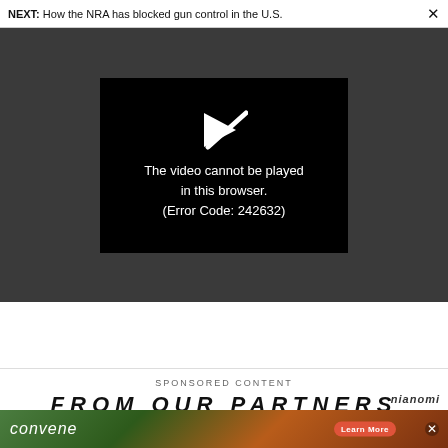NEXT: How the NRA has blocked gun control in the U.S.
[Figure (screenshot): Video player showing error: The video cannot be played in this browser. (Error Code: 242632)]
SPONSORED CONTENT
FROM OUR PARTNERS
[Figure (photo): Convene advertisement banner with 'Learn More' button showing people in a meeting setting]